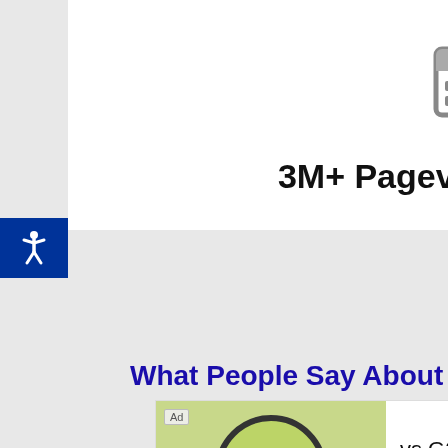[Figure (illustration): Gray calendar icon with grid of squares representing dates]
3M+ Pageviews Monthly
What People Say About Small
[Figure (screenshot): Advertisement box showing magnifying glass over 'customers' text, ad label, vs G2, sell.g2.com/try/g2 URL, and Visit Site button]